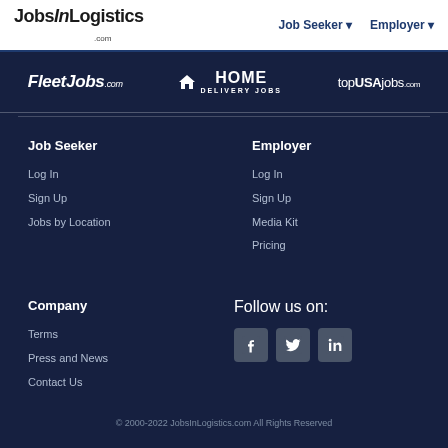JobsInLogistics.com | Job Seeker ▾ | Employer ▾
[Figure (logo): Partner logos bar: FleetJobs.com, Home Delivery Jobs, topUSAjobs.com]
Job Seeker
Log In
Sign Up
Jobs by Location
Employer
Log In
Sign Up
Media Kit
Pricing
Company
Terms
Press and News
Contact Us
Follow us on:
[Figure (other): Social media icons: Facebook, Twitter, LinkedIn]
© 2000-2022 JobsInLogistics.com All Rights Reserved